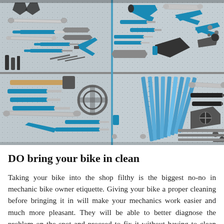[Figure (photo): A large overhead photo of a pegboard covered in bicycle repair tools, many with blue handles. The board is divided into four quadrants showing wrenches, pliers, screwdrivers, hammers, hex keys, and various specialty bike tools arranged neatly.]
DO bring your bike in clean
Taking your bike into the shop filthy is the biggest no-no in mechanic bike owner etiquette. Giving your bike a proper cleaning before bringing it in will make your mechanics work easier and much more pleasant. They will be able to better diagnose the problem on the spot and proceed to fix it without having to clean your bike themselves which will also save you a bit of